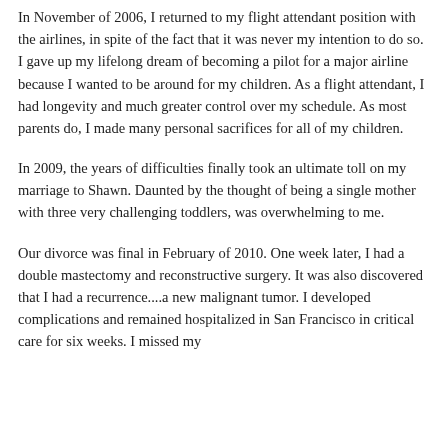In November of 2006, I returned to my flight attendant position with the airlines, in spite of the fact that it was never my intention to do so. I gave up my lifelong dream of becoming a pilot for a major airline because I wanted to be around for my children. As a flight attendant, I had longevity and much greater control over my schedule. As most parents do, I made many personal sacrifices for all of my children.
In 2009, the years of difficulties finally took an ultimate toll on my marriage to Shawn. Daunted by the thought of being a single mother with three very challenging toddlers, was overwhelming to me.
Our divorce was final in February of 2010. One week later, I had a double mastectomy and reconstructive surgery. It was also discovered that I had a recurrence....a new malignant tumor. I developed complications and remained hospitalized in San Francisco in critical care for six weeks. I missed my